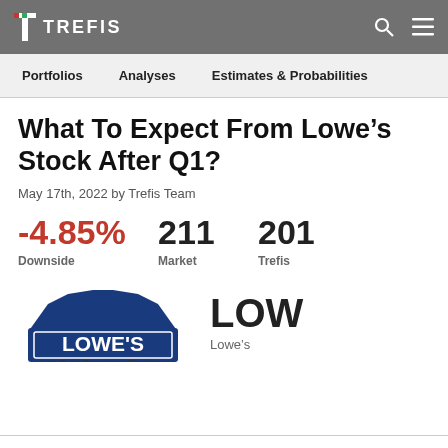TREFIS
Portfolios  Analyses  Estimates & Probabilities
What To Expect From Lowe’s Stock After Q1?
May 17th, 2022 by Trefis Team
-4.85% Downside  211 Market  201 Trefis
[Figure (logo): Lowe's logo with tagline: Lets Build Something Together]
LOW
Lowe’s